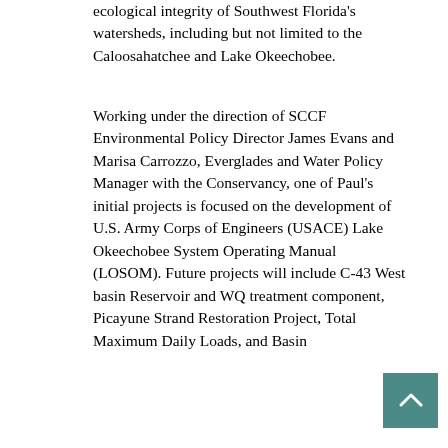ecological integrity of Southwest Florida's watersheds, including but not limited to the Caloosahatchee and Lake Okeechobee.
Working under the direction of SCCF Environmental Policy Director James Evans and Marisa Carrozzo, Everglades and Water Policy Manager with the Conservancy, one of Paul's initial projects is focused on the development of U.S. Army Corps of Engineers (USACE) Lake Okeechobee System Operating Manual (LOSOM). Future projects will include C-43 West basin Reservoir and WQ treatment component, Picayune Strand Restoration Project, Total Maximum Daily Loads, and Basin